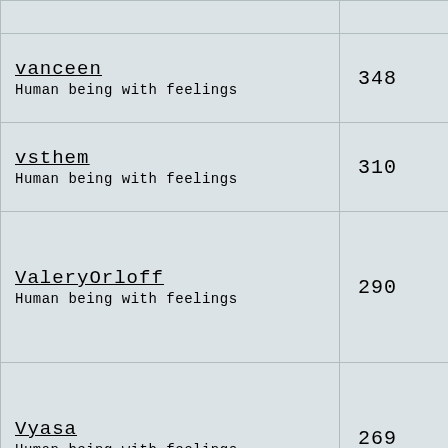| User | Score |
| --- | --- |
| vanceen
Human being with feelings | 348 |
| vsthem
Human being with feelings | 310 |
| ValeryOrloff
Human being with feelings | 290 |
| Vyasa
Human being with feelings | 269 |
| voidar
Human being with feelings | 181 |
| vassaux
Human being with feelings | 180 |